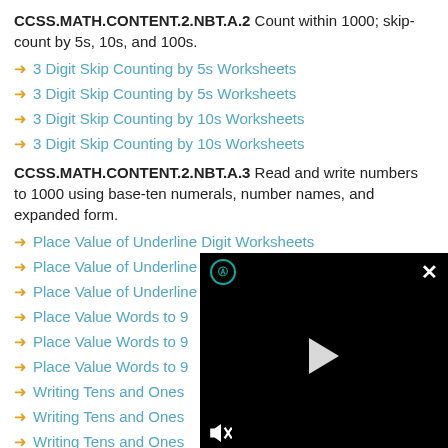CCSS.MATH.CONTENT.2.NBT.A.2 Count within 1000; skip-count by 5s, 10s, and 100s.
3 Digit Skip Counting by 5s Worksheets
3 Digit Skip Counting by 5s Worksheets
3 Digit Skip Counting by 10s Worksheets
3 Digit Skip Counting by 10s Worksheets
CCSS.MATH.CONTENT.2.NBT.A.3 Read and write numbers to 1000 using base-ten numerals, number names, and expanded form.
Place Value of Underline Digit Worksheets
Place Value of Underline Digit Worksheets -2
Place Value of Underline Digit Worksheets -3
Place Value Words to 9...
Place Value Words to 9...
Place Value Words to 9...
Writing Tens and Ones...
Writing Tens and Ones...
Writing Tens and Ones...
[Figure (screenshot): Video player overlay with black background, play button in center, circular icon with teal outline at top-left, X close button at top-right, mute icon at bottom-left]